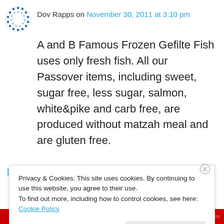Dov Rapps on November 30, 2011 at 3:10 pm
A and B Famous Frozen Gefilte Fish uses only fresh fish. All our Passover items, including sweet, sugar free, less sugar, salmon, white&pike and carb free, are produced without matzah meal and are gluten free.
During the year, we produce a gluten free gf, as well.
★ Like
Log in to Reply
Privacy & Cookies: This site uses cookies. By continuing to use this website, you agree to their use.
To find out more, including how to control cookies, see here: Cookie Policy
Close and accept